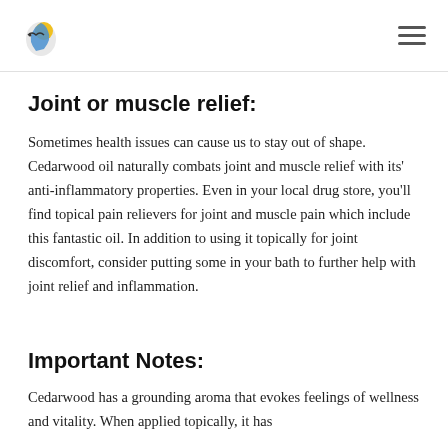[Logo] [Hamburger menu]
Joint or muscle relief:
Sometimes health issues can cause us to stay out of shape. Cedarwood oil naturally combats joint and muscle relief with its' anti-inflammatory properties. Even in your local drug store, you'll find topical pain relievers for joint and muscle pain which include this fantastic oil. In addition to using it topically for joint discomfort, consider putting some in your bath to further help with joint relief and inflammation.
Important Notes:
Cedarwood has a grounding aroma that evokes feelings of wellness and vitality. When applied topically, it has